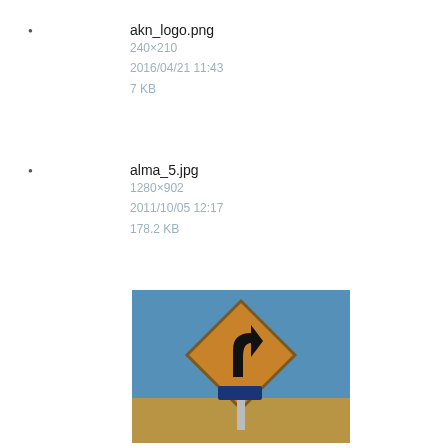akn_logo.png
240×210
2016/04/21 11:43
7 KB
alma_5.jpg
1280×902
2011/10/05 12:17
178.2 KB
[Figure (photo): Road sign (diamond-shaped curve warning sign) on a desert highway under blue sky]
alma_altiplano.jpg
5184×3888
2014/08/31 19:20
6.8 MB
[Figure (photo): Desert landscape with mountains under blue sky]